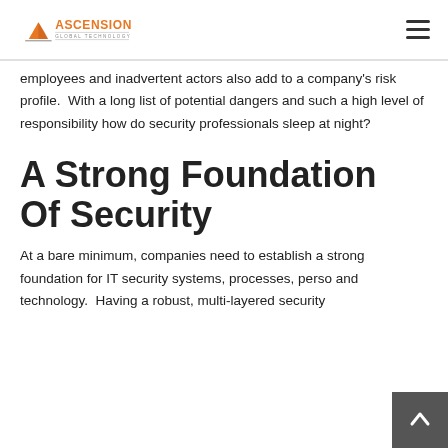ASCENSION GLOBAL TECHNOLOGY
employees and inadvertent actors also add to a company's risk profile.  With a long list of potential dangers and such a high level of responsibility how do security professionals sleep at night?
A Strong Foundation Of Security
At a bare minimum, companies need to establish a strong foundation for IT security systems, processes, perso and technology.  Having a robust, multi-layered security